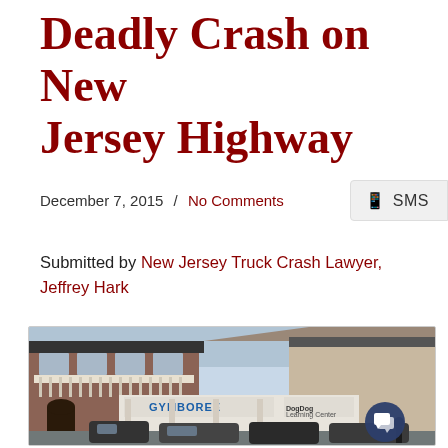Deadly Crash on New Jersey Highway
December 7, 2015  /  No Comments
Submitted by New Jersey Truck Crash Lawyer, Jeffrey Hark
[Figure (photo): Exterior photo of a strip mall/shopping center with brick facade, Gymboree and Dig Dig stores visible, cars parked in front, taken from parking lot level.]